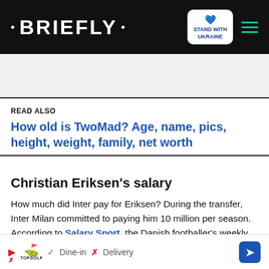• BRIEFLY •
READ ALSO
How old is TwoMad? Age, name, pics, height, weight, family, net worth
Christian Eriksen's salary
How much did Inter pay for Eriksen? During the transfer, Inter Milan committed to paying him 10 million per season. According to Salary Sport, the Danish footballer's weekly wage is £243,000. His net worth is estimated at £14.2m.